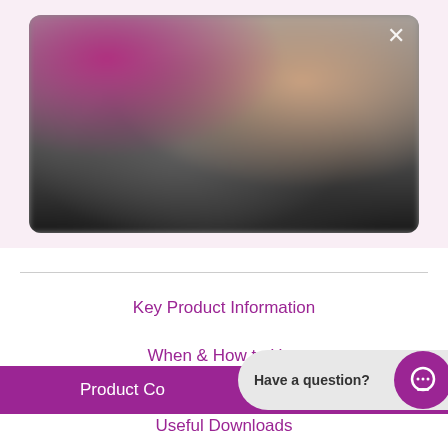[Figure (screenshot): Video thumbnail with blurred product image, showing a logo in pink/magenta on the left, a hand on the right, and dark gradient at the bottom. A close (X) button is in the top-right corner.]
Key Product Information
When & How to Use
Product Co...
Useful Downloads